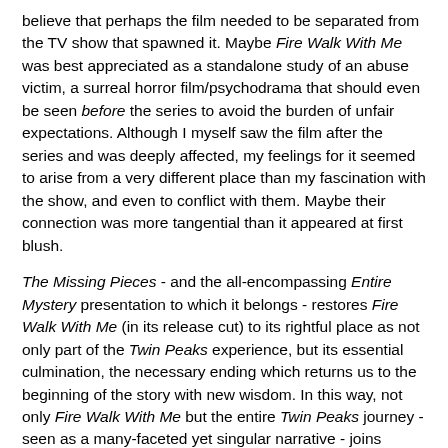believe that perhaps the film needed to be separated from the TV show that spawned it. Maybe Fire Walk With Me was best appreciated as a standalone study of an abuse victim, a surreal horror film/psychodrama that should even be seen before the series to avoid the burden of unfair expectations. Although I myself saw the film after the series and was deeply affected, my feelings for it seemed to arise from a very different place than my fascination with the show, and even to conflict with them. Maybe their connection was more tangential than it appeared at first blush.
The Missing Pieces - and the all-encompassing Entire Mystery presentation to which it belongs - restores Fire Walk With Me (in its release cut) to its rightful place as not only part of the Twin Peaks experience, but its essential culmination, the necessary ending which returns us to the beginning of the story with new wisdom. In this way, not only Fire Walk With Me but the entire Twin Peaks journey - seen as a many-faceted yet singular narrative - joins Lynch's later films as a cyclical spiritual saga. The Missing Pieces can hopefully remind Fire Walk With Me's fans of what is still so valuable in the often frustrating TV series; more valuably,